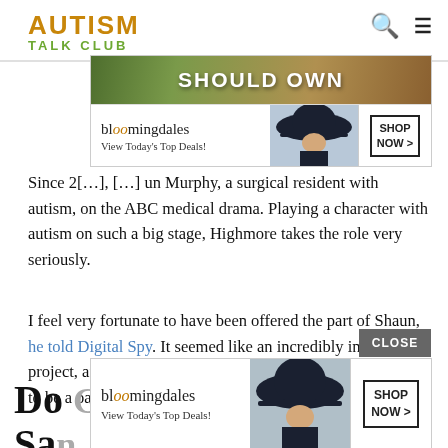AUTISM TALK CLUB
[Figure (screenshot): Bloomingdale's advertisement banner showing 'SHOULD OWN' text and a woman in a wide-brimmed hat with 'View Today's Top Deals!' and 'SHOP NOW >' button]
Since 2[...], [...] un Murphy, a surgical resident with autism, on the ABC medical drama. Playing a character with autism on such a big stage, Highmore takes the role very seriously.
I feel very fortunate to have been offered the part of Shaun, he told Digital Spy. It seemed like an incredibly important project, and thats why I wanted to be a part of it. Im proud to be a part of it.
Do [...] e San[...]
[Figure (screenshot): Bloomingdale's advertisement banner with CLOSE button, showing woman in wide-brimmed hat with 'View Today's Top Deals!' and 'SHOP NOW >' button]